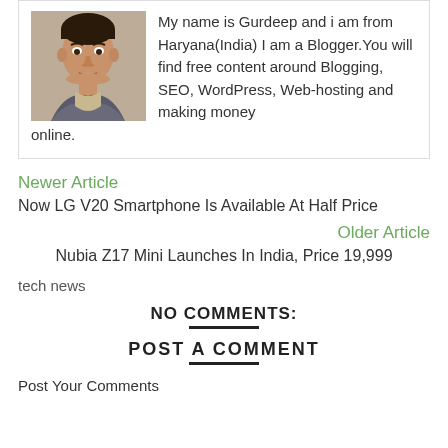[Figure (photo): Photo of Gurdeep, a man from Haryana India]
My name is Gurdeep and i am from Haryana(India) I am a Blogger.You will find free content around Blogging, SEO, WordPress, Web-hosting and making money online.
Newer Article
Now LG V20 Smartphone Is Available At Half Price
Older Article
Nubia Z17 Mini Launches In India, Price 19,999
tech news
NO COMMENTS:
POST A COMMENT
Post Your Comments